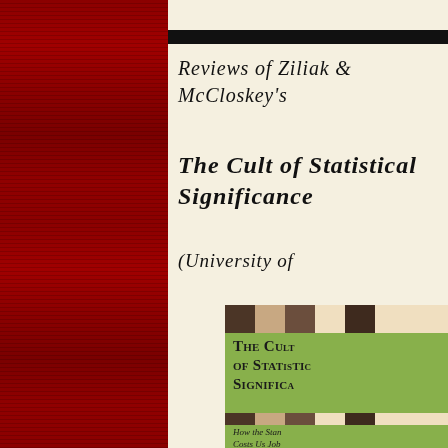Reviews of Ziliak & McCloskey's
The Cult of Statistical Significance
(University of
[Figure (photo): Book cover of 'The Cult of Statistical Significance' showing a green cover with small-caps title text, brown/tan block pattern at top and middle, and subtitle text 'How the Stan... Costs Us Job...' at the bottom]